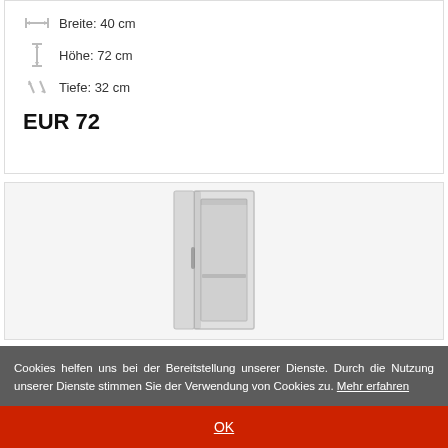Breite: 40 cm
Höhe: 72 cm
Tiefe: 32 cm
EUR 72
[Figure (photo): Product photo of a wall cabinet (Wandschrank) shown open, light gray/silver color, with shelves visible inside, rendered on light gray background.]
Cookies helfen uns bei der Bereitstellung unserer Dienste. Durch die Nutzung unserer Dienste stimmen Sie der Verwendung von Cookies zu. Mehr erfahren
OK